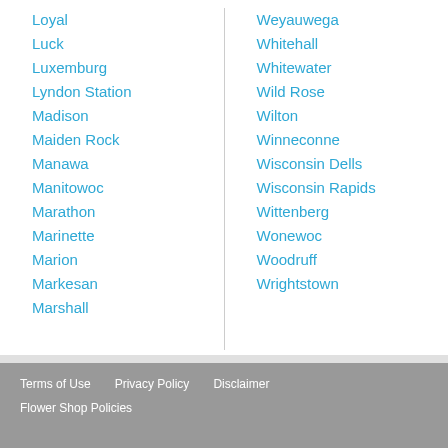Loyal
Luck
Luxemburg
Lyndon Station
Madison
Maiden Rock
Manawa
Manitowoc
Marathon
Marinette
Marion
Markesan
Marshall
Weyauwega
Whitehall
Whitewater
Wild Rose
Wilton
Winneconne
Wisconsin Dells
Wisconsin Rapids
Wittenberg
Wonewoc
Woodruff
Wrightstown
Terms of Use   Privacy Policy   Disclaimer   Flower Shop Policies